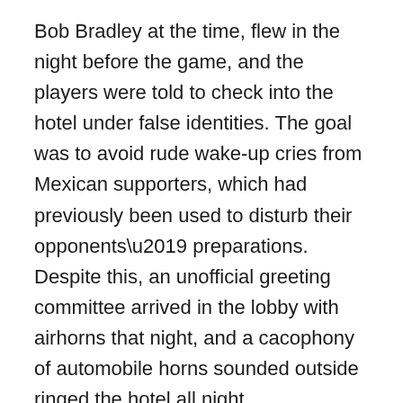Bob Bradley at the time, flew in the night before the game, and the players were told to check into the hotel under false identities. The goal was to avoid rude wake-up cries from Mexican supporters, which had previously been used to disturb their opponents’ preparations. Despite this, an unofficial greeting committee arrived in the lobby with airhorns that night, and a cacophony of automobile horns sounded outside ringed the hotel all night.
“It was basically to divert your attention away from the game and toward all of these other things,” Davies said.